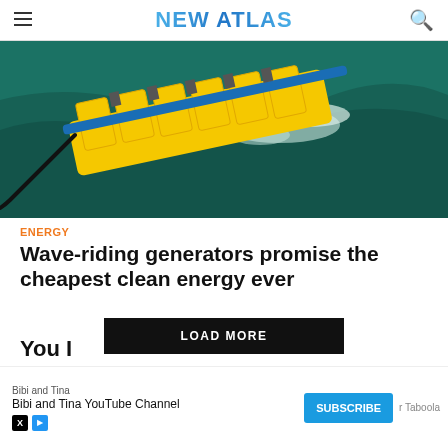NEW ATLAS
[Figure (photo): Aerial view of a yellow wave energy converter device floating on dark teal ocean water, with mechanical components visible along the top.]
ENERGY
Wave-riding generators promise the cheapest clean energy ever
LOAD MORE
You I
Bibi and Tina
Bibi and Tina YouTube Channel
SUBSCRIBE
r Taboola